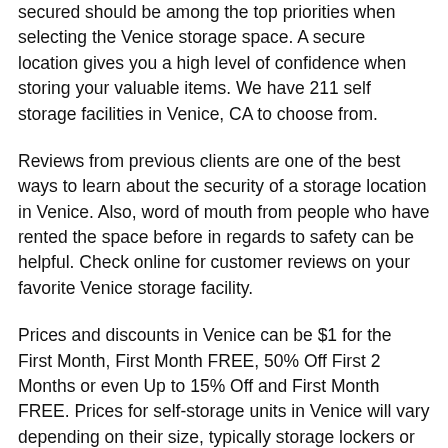secured should be among the top priorities when selecting the Venice storage space. A secure location gives you a high level of confidence when storing your valuable items. We have 211 self storage facilities in Venice, CA to choose from.
Reviews from previous clients are one of the best ways to learn about the security of a storage location in Venice. Also, word of mouth from people who have rented the space before in regards to safety can be helpful. Check online for customer reviews on your favorite Venice storage facility.
Prices and discounts in Venice can be $1 for the First Month, First Month FREE, 50% Off First 2 Months or even Up to 15% Off and First Month FREE. Prices for self-storage units in Venice will vary depending on their size, typically storage lockers or mini storage units will cost less